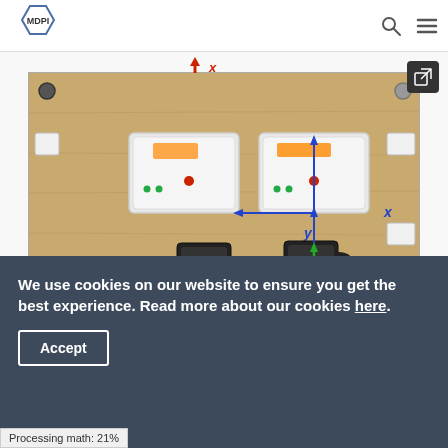MDPI
[Figure (photo): Overhead view of an experimental setup on a wooden board showing two white electronic modules (sensors/transponders), two black square devices connected by a strap, red and blue indicators, with coordinate axis annotations (x, y) drawn in blue arrows and a red arrow labeled x pointing upward, and a green arrow labeled Ms.]
We use cookies on our website to ensure you get the best experience. Read more about our cookies here.
Accept
Processing math: 21%